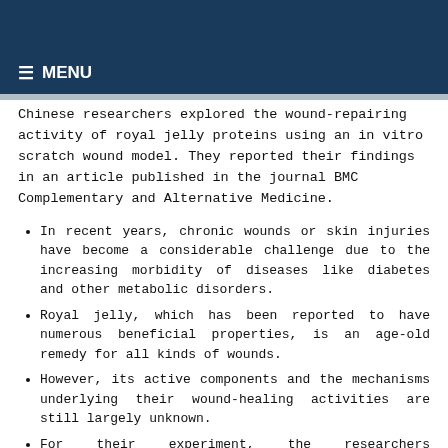MENU
Chinese researchers explored the wound-repairing activity of royal jelly proteins using an in vitro scratch wound model. They reported their findings in an article published in the journal BMC Complementary and Alternative Medicine.
In recent years, chronic wounds or skin injuries have become a considerable challenge due to the increasing morbidity of diseases like diabetes and other metabolic disorders.
Royal jelly, which has been reported to have numerous beneficial properties, is an age-old remedy for all kinds of wounds.
However, its active components and the mechanisms underlying their wound-healing activities are still largely unknown.
For their experiment, the researchers fractionated water-soluble proteins extracted from royal jelly and examined their proliferative and migratory effects on human epidermal keratinocytes (HaCaT).
They characterized and quantified the proteins in the bioactive fractions using the Label-free protein quantification method. Further analyses were done using bioinformatics tools.
The researchers reported that a protein fraction that